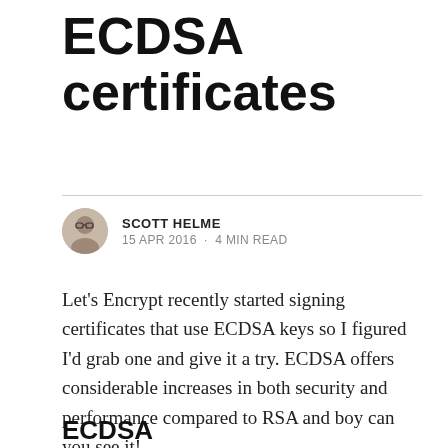ECDSA certificates
SCOTT HELME
15 APR 2016 · 4 MIN READ
Let's Encrypt recently started signing certificates that use ECDSA keys so I figured I'd grab one and give it a try. ECDSA offers considerable increases in both security and performance compared to RSA and boy can you see it!
ECDSA